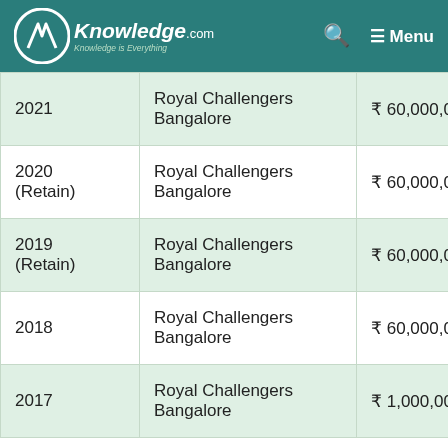A Knowledge.com — Menu
| Year | Team | Amount |
| --- | --- | --- |
| 2021 | Royal Challengers Bangalore | ₹ 60,000,000 |
| 2020 (Retain) | Royal Challengers Bangalore | ₹ 60,000,000 |
| 2019 (Retain) | Royal Challengers Bangalore | ₹ 60,000,000 |
| 2018 | Royal Challengers Bangalore | ₹ 60,000,000 |
| 2017 | Royal Challengers Bangalore | ₹ 1,000,000 |